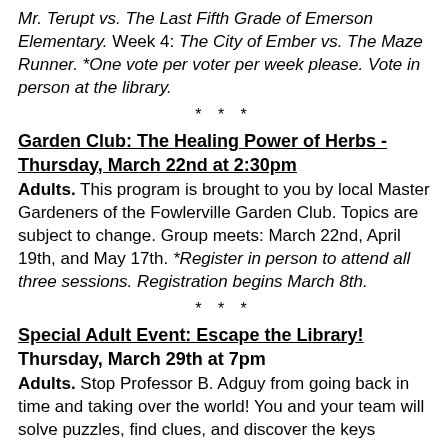Mr. Terupt vs. The Last Fifth Grade of Emerson Elementary. Week 4: The City of Ember vs. The Maze Runner. *One vote per voter per week please. Vote in person at the library.
* * *
Garden Club: The Healing Power of Herbs - Thursday, March 22nd at 2:30pm
Adults. This program is brought to you by local Master Gardeners of the Fowlerville Garden Club. Topics are subject to change. Group meets: March 22nd, April 19th, and May 17th. *Register in person to attend all three sessions. Registration begins March 8th.
* * *
Special Adult Event: Escape the Library! Thursday, March 29th at 7pm
Adults. Stop Professor B. Adguy from going back in time and taking over the world! You and your team will solve puzzles, find clues, and discover the keys